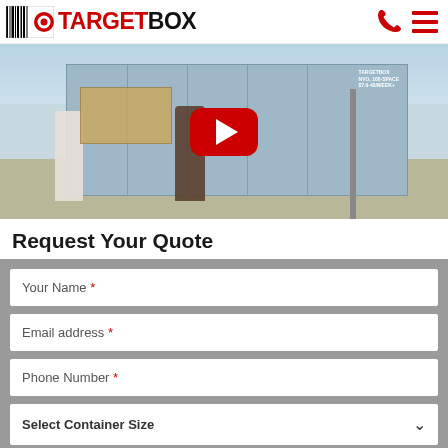TargetBox logo and navigation header
[Figure (screenshot): Website screenshot showing TargetBox mobile page with header logo, YouTube video thumbnail of two people moving boxes into a shipping container, a 'Request Your Quote' form section with fields for Your Name, Email address, Phone Number, and a Select Container Size dropdown.]
Request Your Quote
Your Name *
Email address *
Phone Number *
Select Container Size